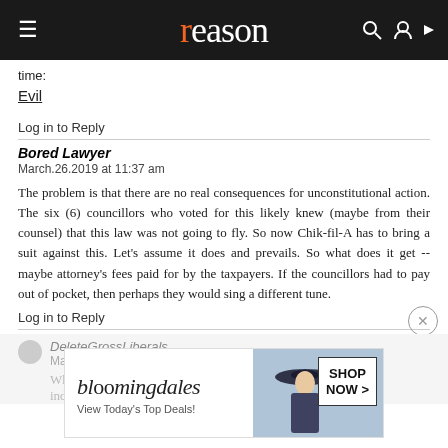reason
time:
Evil
Log in to Reply
Bored Lawyer
March.26.2019 at 11:37 am
The problem is that there are no real consequences for unconstitutional action. The six (6) councillors who voted for this likely knew (maybe from their counsel) that this law was not going to fly. So now Chik-fil-A has to bring a suit against this. Let's assume it does and prevails. So what does it get -- maybe attorney's fees paid for by the taxpayers. If the councillors had to pay out of pocket, then perhaps they would sing a different tune.
Log in to Reply
DeleteGrossLiberals
March.26.2019 at 11:39
Which ... ne on indivi...
[Figure (screenshot): Bloomingdale's advertisement banner: 'bloomingdales View Today's Top Deals!' with SHOP NOW > button and woman in hat image]